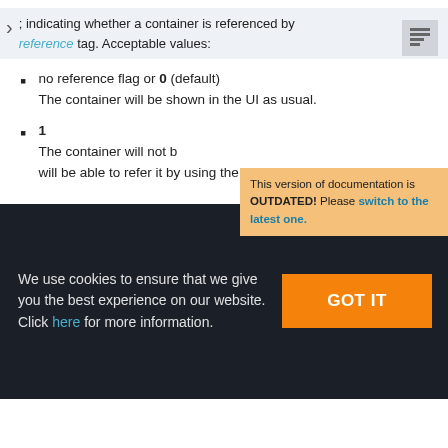; indicating whether a container is referenced by reference tag. Acceptable values:
no reference flag or 0 (default)
The container will be shown in the UI as usual.
1
The container will not b... will be able to refer it by using the reference tag.
This version of documentation is OUTDATED! Please switch to the latest one.
We use cookies to ensure that we give you the best experience on our website. Click here for more information.